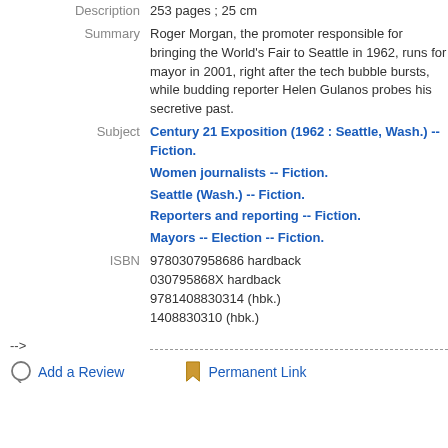Description: 253 pages ; 25 cm
Summary: Roger Morgan, the promoter responsible for bringing the World's Fair to Seattle in 1962, runs for mayor in 2001, right after the tech bubble bursts, while budding reporter Helen Gulanos probes his secretive past.
Subject: Century 21 Exposition (1962 : Seattle, Wash.) -- Fiction. Women journalists -- Fiction. Seattle (Wash.) -- Fiction. Reporters and reporting -- Fiction. Mayors -- Election -- Fiction.
ISBN: 9780307958686 hardback 030795868X hardback 9781408830314 (hbk.) 1408830310 (hbk.)
-->
Add a Review   Permanent Link